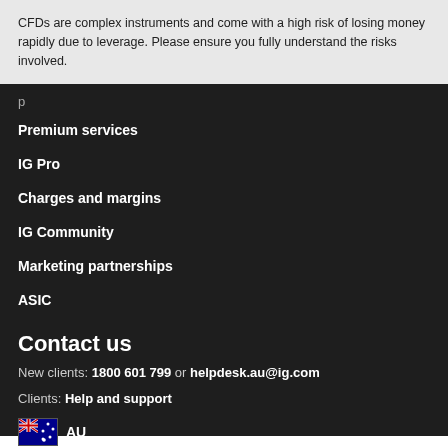CFDs are complex instruments and come with a high risk of losing money rapidly due to leverage. Please ensure you fully understand the risks involved.
Premium services
IG Pro
Charges and margins
IG Community
Marketing partnerships
ASIC
Contact us
New clients: 1800 601 799 or helpdesk.au@ig.com
Clients: Help and support
AU